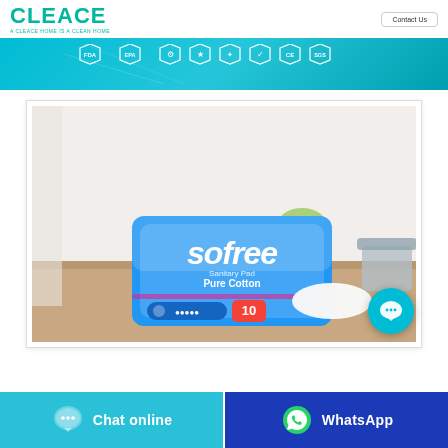[Figure (logo): CLEACE logo with green letters and tagline 'A CLEACE HOME IS A CLEAN HOME']
[Figure (infographic): Teal certification banner showing FDA, EPA, and other certification badge icons]
[Figure (photo): Product photo of 'sofree' Sanitary Pad Pure Cotton package (10 count) on a wooden surface with a basket in background]
[Figure (infographic): Cyan circular chat button with ellipsis icon]
[Figure (infographic): Bottom bar with two buttons: light blue 'Chat online' button and dark blue 'WhatsApp' button]